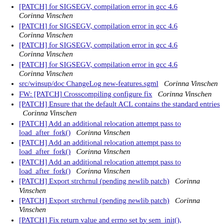[PATCH] for SIGSEGV, compilation error in gcc 4.6  Corinna Vinschen
[PATCH] for SIGSEGV, compilation error in gcc 4.6  Corinna Vinschen
[PATCH] for SIGSEGV, compilation error in gcc 4.6  Corinna Vinschen
[PATCH] for SIGSEGV, compilation error in gcc 4.6  Corinna Vinschen
src/winsup/doc ChangeLog new-features.sgml   Corinna Vinschen
FW: [PATCH] Crosscompiling configure fix   Corinna Vinschen
[PATCH] Ensure that the default ACL contains the standard entries   Corinna Vinschen
[PATCH] Add an additional relocation attempt pass to load_after_fork()   Corinna Vinschen
[PATCH] Add an additional relocation attempt pass to load_after_fork()   Corinna Vinschen
[PATCH] Add an additional relocation attempt pass to load_after_fork()   Corinna Vinschen
[PATCH] Export strchrnul (pending newlib patch)   Corinna Vinschen
[PATCH] Export strchrnul (pending newlib patch)   Corinna Vinschen
[PATCH] Fix return value and errno set by sem_init(),